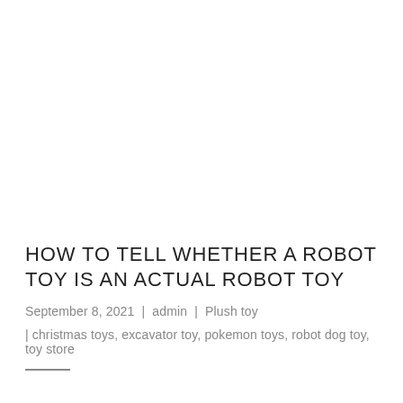HOW TO TELL WHETHER A ROBOT TOY IS AN ACTUAL ROBOT TOY
September 8, 2021 | admin | Plush toy
| christmas toys, excavator toy, pokemon toys, robot dog toy, toy store